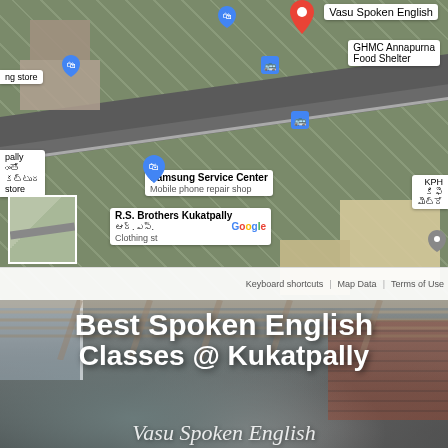[Figure (map): Google Maps aerial/satellite view showing Kukatpally area with markers for Vasu Spoken English, GHMC Annapurna Food Shelter, Samsung Service Center (Mobile phone repair shop), R.S. Brothers Kukatpally clothing store, and KPH metro. Bus stop icons visible. Google logo and map controls shown at bottom.]
[Figure (photo): Photo of women in a classroom or meeting room setting, with brick wall and windows visible. White bold text overlay reads 'Best Spoken English Classes @ Kukatpally'. Cursive white text partially visible at bottom.]